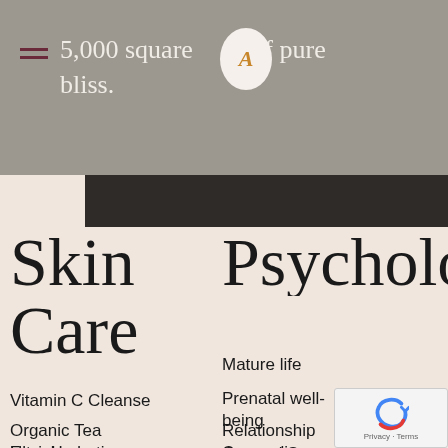5,000 square feet of pure bliss.
Skin Care
Psycholo
Vitamin C Cleanse
Organic Tea Facial
Ultra Hydration Facial
Mature life
Prenatal well-being
Relationship Counseling
General Stress